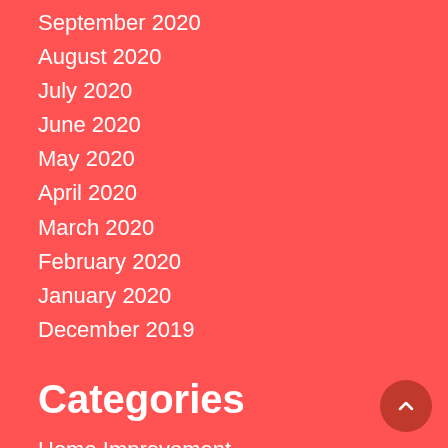September 2020
August 2020
July 2020
June 2020
May 2020
April 2020
March 2020
February 2020
January 2020
December 2019
Categories
Home Improvement
Tech
Fashion